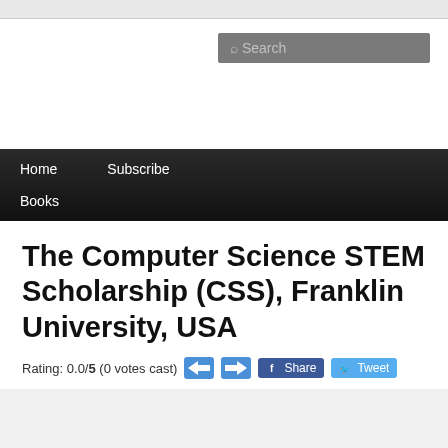[Figure (screenshot): Search box UI element with magnifying glass icon and placeholder text 'Search' on a dark gray background]
Home   Subscribe   Books
The Computer Science STEM Scholarship (CSS), Franklin University, USA
Rating: 0.0/5 (0 votes cast)